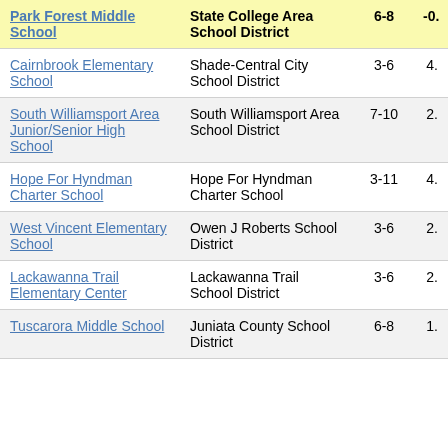| School | District | Grades | Value |
| --- | --- | --- | --- |
| Park Forest Middle School | State College Area School District | 6-8 | -0. |
| Cairnbrook Elementary School | Shade-Central City School District | 3-6 | 4. |
| South Williamsport Area Junior/Senior High School | South Williamsport Area School District | 7-10 | 2. |
| Hope For Hyndman Charter School | Hope For Hyndman Charter School | 3-11 | 4. |
| West Vincent Elementary School | Owen J Roberts School District | 3-6 | 2. |
| Lackawanna Trail Elementary Center | Lackawanna Trail School District | 3-6 | 2. |
| Tuscarora Middle School | Juniata County School District | 6-8 | 1. |